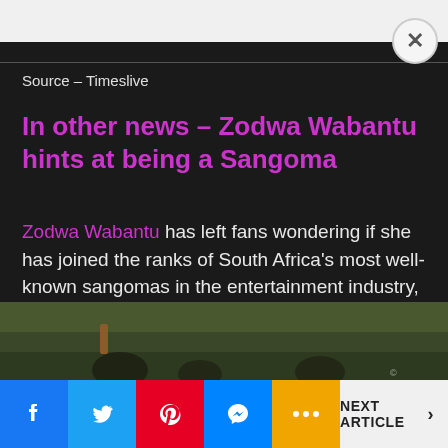Source – Timeslive
In other news – Zodwa Wabantu hints at being a Sangoma
Zodwa Wabantu has left fans wondering if she has joined the ranks of South Africa's most well-known sangomas in the entertainment industry, such as Boity Thulo and Letoya Makhene.
[Figure (photo): Photo strip showing people outdoors on green grass]
NEXT ARTICLE >